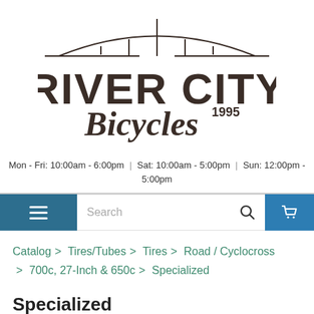[Figure (logo): River City Bicycles logo with bridge arch above text. 'RIVER CITY' in bold dark brown uppercase letters, 'Bicycles' in dark brown cursive script, '1995' superscript beside Bicycles.]
Mon - Fri: 10:00am - 6:00pm | Sat: 10:00am - 5:00pm | Sun: 12:00pm - 5:00pm
Search
Catalog > Tires/Tubes > Tires > Road / Cyclocross > 700c, 27-Inch & 650c > Specialized
Specialized